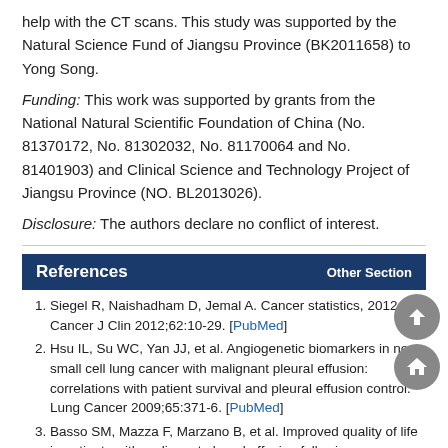help with the CT scans. This study was supported by the Natural Science Fund of Jiangsu Province (BK2011658) to Yong Song.
Funding: This work was supported by grants from the National Natural Scientific Foundation of China (No. 81370172, No. 81302032, No. 81170064 and No. 81401903) and Clinical Science and Technology Project of Jiangsu Province (NO. BL2013026).
Disclosure: The authors declare no conflict of interest.
References
Siegel R, Naishadham D, Jemal A. Cancer statistics, 2012. CA Cancer J Clin 2012;62:10-29. [PubMed]
Hsu IL, Su WC, Yan JJ, et al. Angiogenetic biomarkers in non-small cell lung cancer with malignant pleural effusion: correlations with patient survival and pleural effusion control. Lung Cancer 2009;65:371-6. [PubMed]
Basso SM, Mazza F, Marzano B, et al. Improved quality of life in patients with malignant pleural effusion following videoassisted...